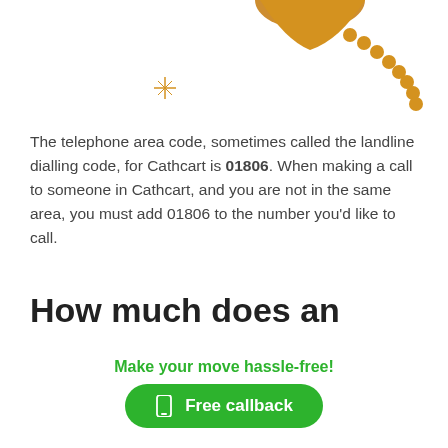[Figure (illustration): Partial illustration of golden/amber colored decorative items (appears to be jewelry or ornamental objects) on white background, with a small orange sparkle/star symbol]
The telephone area code, sometimes called the landline dialling code, for Cathcart is 01806. When making a call to someone in Cathcart, and you are not in the same area, you must add 01806 to the number you'd like to call.
How much does an 01806 Cathcart call cost?
If calls are included with your mobile or landline tariff, then
Make your move hassle-free!
Free callback